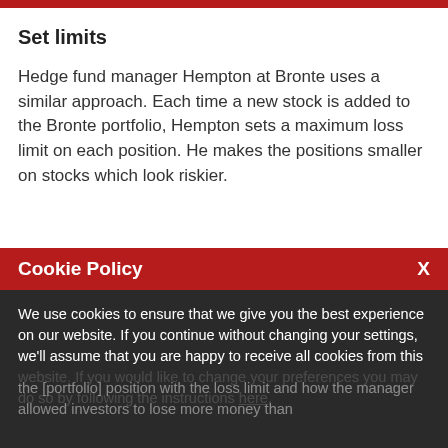Set limits
Hedge fund manager Hempton at Bronte uses a similar approach. Each time a new stock is added to the Bronte portfolio, Hempton sets a maximum loss limit on each position. He makes the positions smaller on stocks which look riskier.
Cookie Policy
We use cookies to ensure that we give you the best experience on our website. If you continue without changing your settings, we'll assume that you are happy to receive all cookies from this website. If you would like to change your preferences you may do so by following the instructions here.